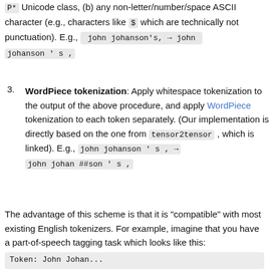P* Unicode class, (b) any non-letter/number/space ASCII character (e.g., characters like $ which are technically not punctuation). E.g., john johanson's, → john johanson ' s ,
3. WordPiece tokenization: Apply whitespace tokenization to the output of the above procedure, and apply WordPiece tokenization to each token separately. (Our implementation is directly based on the one from tensor2tensor , which is linked). E.g., john johanson ' s , → john johan ##son ' s ,
The advantage of this scheme is that it is "compatible" with most existing English tokenizers. For example, imagine that you have a part-of-speech tagging task which looks like this: